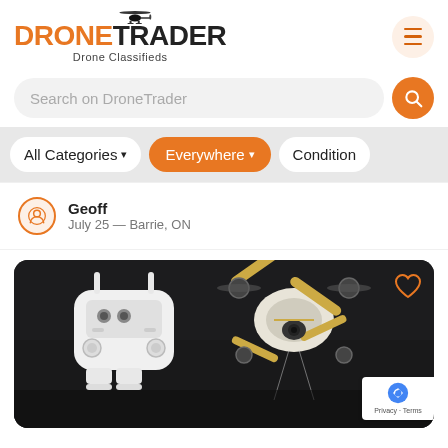[Figure (logo): DroneTrader logo with helicopter silhouette, orange DRONE and black TRADER text, subtitle Drone Classifieds]
Search on DroneTrader
All Categories ▾
Everywhere ▾
Condition
Geoff
July 25 — Barrie, ON
[Figure (photo): Photo of drone hardware on dark background — a white DJI-style remote controller and drone parts with yellow arms, with a heart (favorite) icon in top-right corner. reCAPTCHA badge in bottom-right.]